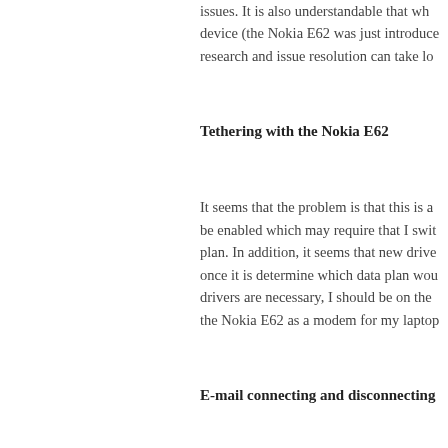issues. It is also understandable that when a new device (the Nokia E62 was just introduced), research and issue resolution can take lo...
Tethering with the Nokia E62
It seems that the problem is that this is a feature that must be enabled which may require that I switch my data plan. In addition, it seems that new drivers are needed once it is determine which data plan would work. Once the drivers are necessary, I should be on the way to using the Nokia E62 as a modem for my laptop...
E-mail connecting and disconnecting
Another outstanding technical support issue is e-mail. Even though I did enable the BlackBerry Connect, e-mail is not being "pushed" to the Nokia E... manually retrieve it. When I retrieve e-ma... connect (which takes a few seconds), an... e-mail application, it needs to disconnect...